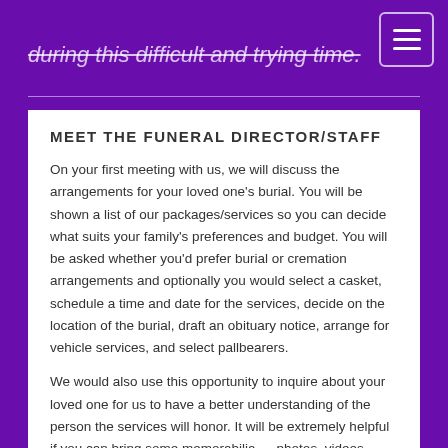during this difficult and trying time.
MEET THE FUNERAL DIRECTOR/STAFF
On your first meeting with us, we will discuss the arrangements for your loved one's burial. You will be shown a list of our packages/services so you can decide what suits your family's preferences and budget. You will be asked whether you'd prefer burial or cremation arrangements and optionally you would select a casket, schedule a time and date for the services, decide on the location of the burial, draft an obituary notice, arrange for vehicle services, and select pallbearers.
We would also use this opportunity to inquire about your loved one for us to have a better understanding of the person the services will honor. It will be extremely helpful if you can bring some memorabilia — photos, videos, treasured items, letters — that would give us a clearer picture on how you envision paying tribute to your loved